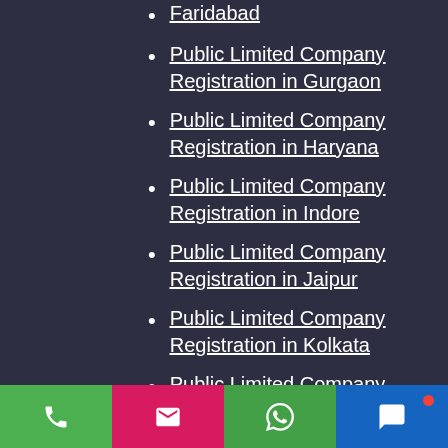Public Limited Company Registration in Faridabad
Public Limited Company Registration in Gurgaon
Public Limited Company Registration in Haryana
Public Limited Company Registration in Indore
Public Limited Company Registration in Jaipur
Public Limited Company Registration in Kolkata
Public Limited Company Registration in Ludhiana
Public Limited Company Registration in Mumbai
Public Limited Company Registration in Varanasi
Public Limited Company Registration in [continued]